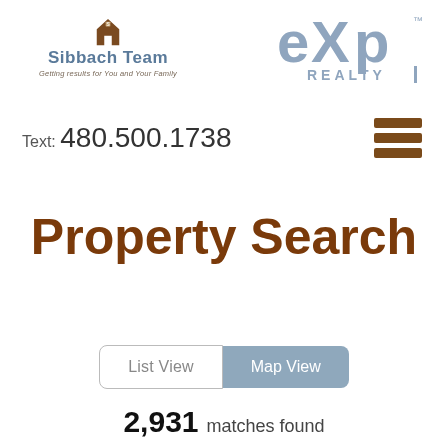[Figure (logo): Sibbach Team logo with house icon and tagline 'Getting results for You and Your Family']
[Figure (logo): eXp Realty logo in grey/blue tones]
Text: 480.500.1738
[Figure (other): Hamburger menu icon with three brown horizontal bars]
Property Search
List View  Map View
2,931 matches found